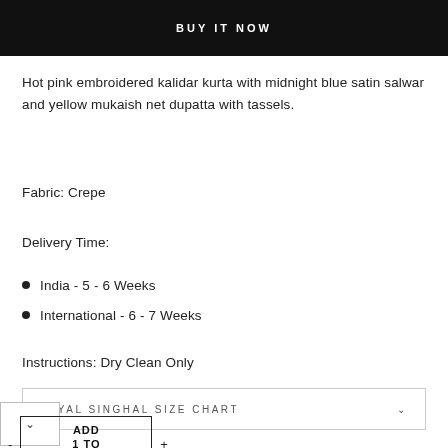BUY IT NOW
Hot pink embroidered kalidar kurta with midnight blue satin salwar and yellow mukaish net dupatta with tassels.
Fabric: Crepe
Delivery Time:
India - 5 - 6 Weeks
International - 6 - 7 Weeks
Instructions: Dry Clean Only
PAYAL SINGHAL SIZE CHART
ADD 1 TO CART